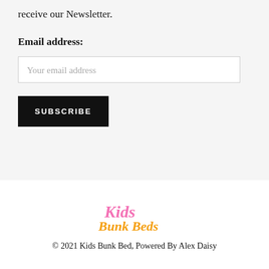receive our Newsletter.
Email address:
Your email address
SUBSCRIBE
[Figure (logo): Kids Bunk Beds logo in colorful script text — 'Kids' in pink and 'Bunk Beds' in yellow/orange cursive]
© 2021 Kids Bunk Bed, Powered By Alex Daisy